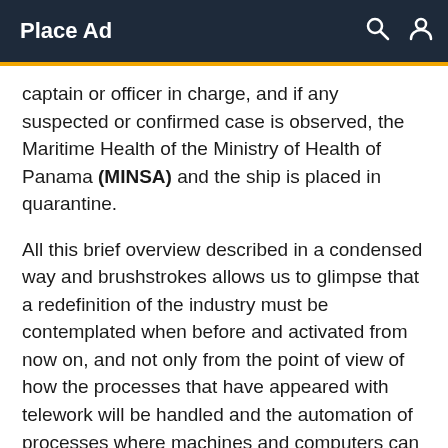Place Ad
captain or officer in charge, and if any suspected or confirmed case is observed, the Maritime Health of the Ministry of Health of Panama (MINSA) and the ship is placed in quarantine.
All this brief overview described in a condensed way and brushstrokes allows us to glimpse that a redefinition of the industry must be contemplated when before and activated from now on, and not only from the point of view of how the processes that have appeared with telework will be handled and the automation of processes where machines and computers can substitute tasks. The pandemic, in its positive aspect, is already raising questions about the type of society we want to build post-coronavirus , the contribution of different actors to collective well-being, and the need for other business models that promote sustainable development. Soon we